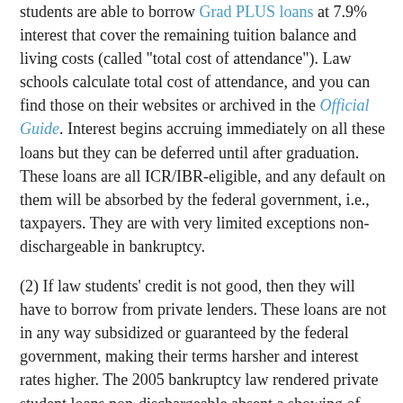students are able to borrow Grad PLUS loans at 7.9% interest that cover the remaining tuition balance and living costs (called "total cost of attendance"). Law schools calculate total cost of attendance, and you can find those on their websites or archived in the Official Guide. Interest begins accruing immediately on all these loans but they can be deferred until after graduation. These loans are all ICR/IBR-eligible, and any default on them will be absorbed by the federal government, i.e., taxpayers. They are with very limited exceptions non-dischargeable in bankruptcy.
(2) If law students' credit is not good, then they will have to borrow from private lenders. These loans are not in any way subsidized or guaranteed by the federal government, making their terms harsher and interest rates higher. The 2005 bankruptcy law rendered private student loans non-dischargeable absent a showing of undue hardship.
This means that most law students can borrow the full cost of law school tuition and living expenses from the federal government, in the form of high-interest non-dischargeable loans, no matter how high that cost may be.   With average private law school tuition now just under $40,000 per year, and with three years worth of